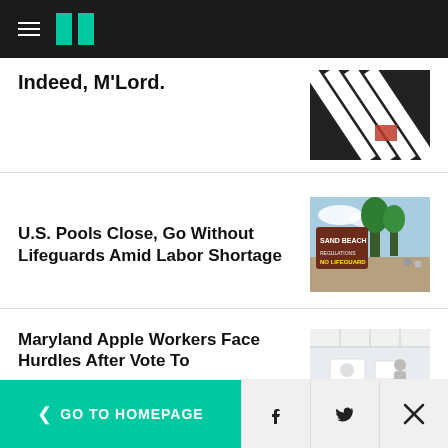HuffPost navigation
Indeed, M'Lord.
[Figure (photo): Black and white striped fabric with red accents]
U.S. Pools Close, Go Without Lifeguards Amid Labor Shortage
[Figure (photo): A park sign reading 'NO LIFEGUARDS' with trees and pathway in background]
Maryland Apple Workers Face Hurdles After Vote To
[Figure (photo): Apple store interior with white ceiling and products]
< GO TO HOMEPAGE